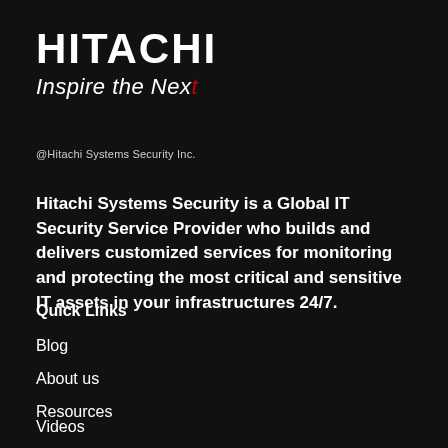[Figure (logo): Hitachi logo with text HITACHI in bold white and tagline Inspire the Next in white italic with a red accent mark]
@Hitachi Systems Security Inc.
Hitachi Systems Security is a Global IT Security Service Provider who builds and delivers customized services for monitoring and protecting the most critical and sensitive IT assets in your infrastructures 24/7.
Quick Links
Blog
About us
Resources
Videos